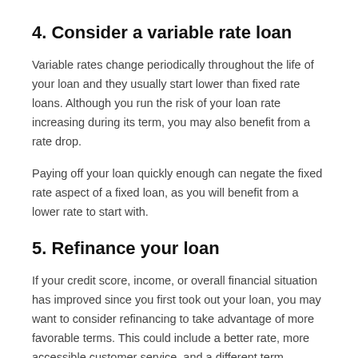4. Consider a variable rate loan
Variable rates change periodically throughout the life of your loan and they usually start lower than fixed rate loans. Although you run the risk of your loan rate increasing during its term, you may also benefit from a rate drop.
Paying off your loan quickly enough can negate the fixed rate aspect of a fixed loan, as you will benefit from a lower rate to start with.
5. Refinance your loan
If your credit score, income, or overall financial situation has improved since you first took out your loan, you may want to consider refinancing to take advantage of more favorable terms. This could include a better rate, more accessible customer service, and a different term.